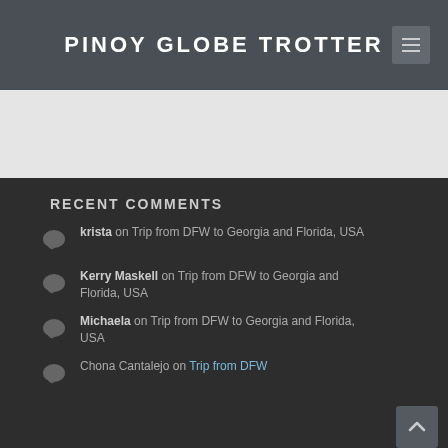PINOY GLOBE TROTTER
RECENT COMMENTS
krista on Trip from DFW to Georgia and Florida, USA
Kerry Maskell on Trip from DFW to Georgia and Florida, USA
Michaela on Trip from DFW to Georgia and Florida, USA
Chona Cantalejo on Trip from DFW to Georgia and Florida, USA